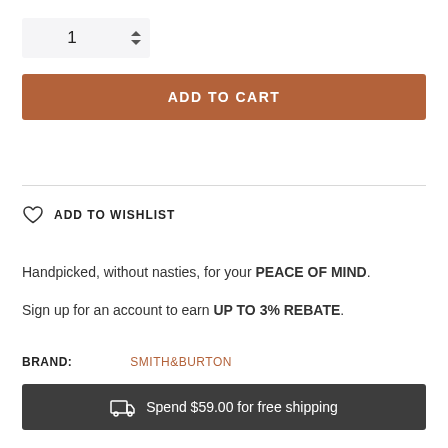[Figure (other): Quantity selector with input showing '1' and up/down arrow buttons]
ADD TO CART
ADD TO WISHLIST
Handpicked, without nasties, for your PEACE OF MIND.
Sign up for an account to earn UP TO 3% REBATE.
BRAND:  SMITH&BURTON
Spend $59.00 for free shipping